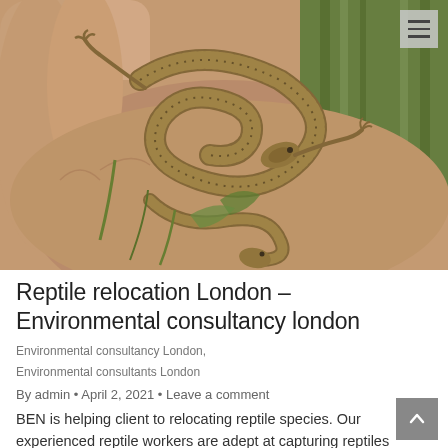[Figure (photo): A close-up photograph of two small lizards (common lizards/wall lizards) resting on an open human hand, with green grass blurred in the background.]
Reptile relocation London – Environmental consultancy london
Environmental consultancy London,
Environmental consultants London
By admin • April 2, 2021 • Leave a comment
BEN is helping client to relocating reptile species. Our experienced reptile workers are adept at capturing reptiles